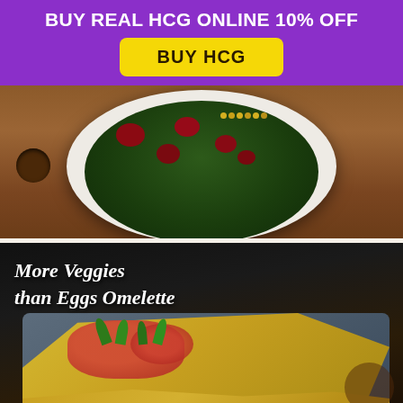BUY REAL HCG ONLINE 10% OFF
BUY HCG
[Figure (photo): A white bowl filled with dark green spinach leaves, red berries/cranberries, and yellow corn kernels, sitting on a wooden cutting board.]
[Figure (photo): A plate with an omelette topped with chopped tomatoes and green herbs, with text overlay reading 'More Veggies than Eggs Omelette' in white italic font on dark background.]